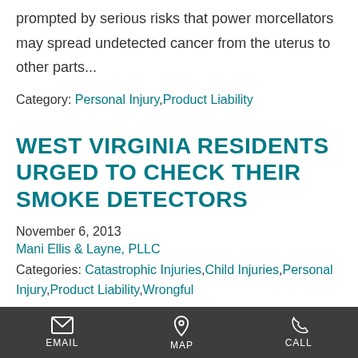prompted by serious risks that power morcellators may spread undetected cancer from the uterus to other parts...
Category: Personal Injury,Product Liability
WEST VIRGINIA RESIDENTS URGED TO CHECK THEIR SMOKE DETECTORS
November 6, 2013
Mani Ellis & Layne, PLLC
Categories: Catastrophic Injuries,Child Injuries,Personal Injury,Product Liability,Wrongful
EMAIL  MAP  CALL